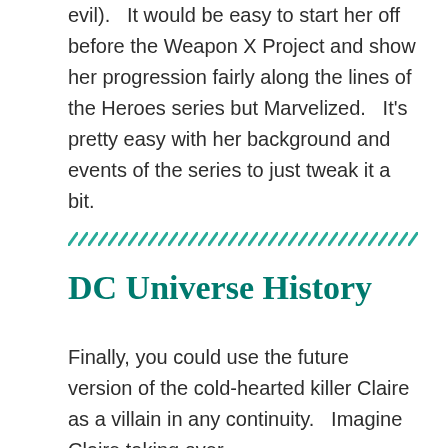evil).   It would be easy to start her off before the Weapon X Project and show her progression fairly along the lines of the Heroes series but Marvelized.   It's pretty easy with her background and events of the series to just tweak it a bit.
[Figure (other): Decorative diagonal stripe divider in teal/green color]
DC Universe History
Finally, you could use the future version of the cold-hearted killer Claire as a villain in any continuity.   Imagine Claire taking over